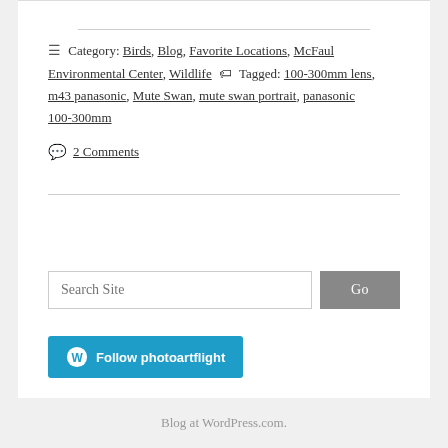≡ Category: Birds, Blog, Favorite Locations, McFaul Environmental Center, Wildlife 🏷 Tagged: 100-300mm lens, m43 panasonic, Mute Swan, mute swan portrait, panasonic 100-300mm
💬 2 Comments
Search Site [Go button]
Follow photoartflight
Blog at WordPress.com.